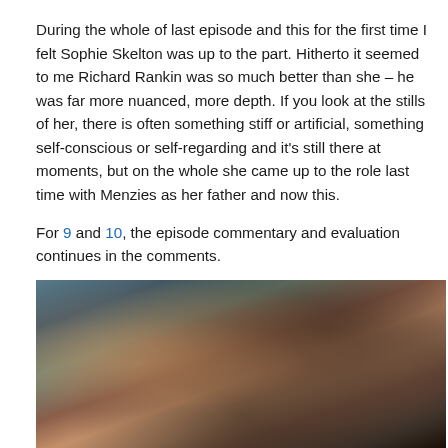During the whole of last episode and this for the first time I felt Sophie Skelton was up to the part. Hitherto it seemed to me Richard Rankin was so much better than she – he was far more nuanced, more depth. If you look at the stills of her, there is often something stiff or artificial, something self-conscious or self-regarding and it's still there at moments, but on the whole she came up to the role last time with Menzies as her father and now this.
For 9 and 10, the episode commentary and evaluation continues in the comments.
[Figure (photo): A close-up photograph of two women with their heads together. One has auburn/red curly hair and the other has dark curly hair. They appear to be in period costume, shot in a moody, cinematic style.]